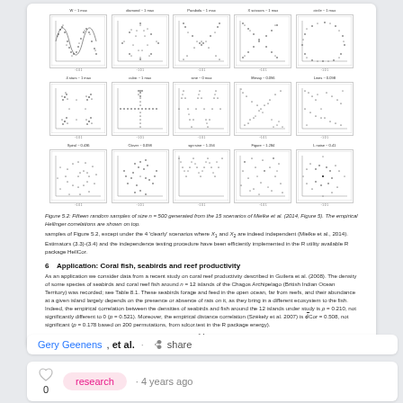[Figure (scatter-plot): Grid of 15 scatter plots arranged in 3 rows of 5, showing various bivariate distributions including sine waves, star shapes, X shapes, circle, clustered patterns, T-shape, zigzag, cross scatter, diagonal scatter, spiral, clover, wave, noise patterns. Each plot has a title showing the pattern name and sample size n, and axis labels.]
Figure 5.2: Fifteen random samples of size n = 500 generated from the 15 scenarios of Mielke et al. (2014, Figure 5). The empirical Hellinger correlations are shown on top.
samples of Figure 5.2, except under the 4 'clearly' scenarios where X₁ and X₂ are indeed independent (Mielke et al., 2014). Estimators (3.3)-(3.4) and the independence testing procedure have been efficiently implemented in the R utility available R package HellCor.
6   Application: Coral fish, seabirds and reef productivity
As an application we consider data from a recent study on coral reef productivity described in Guilera et al. (2008). The density of some species of seabirds and coral reef fish around n = 12 islands of the Chagos Archipelago (British Indian Ocean Territory) was recorded; see Table 8.1. These seabirds forage and feed in the open ocean, far from reefs, and their abundance at a given island largely depends on the presence or absence of rats on it, as they bring in a different ecosystem to the fish. Indeed, the empirical correlation between the densities of seabirds and fish around the 12 islands under study is ρ = 0.210, not significantly different to 0 (p = 0.521). Moreover, the empirical distance correlation (Székely et al. 2007) is dCor = 0.508, not significant (p = 0.178 based on 200 permutations, from sdcor.test in the R package energy).
14
Gery Geenens, et al. · share
research · 4 years ago